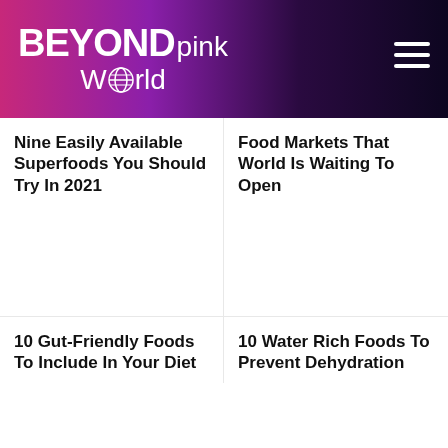BEYONDpink World
Nine Easily Available Superfoods You Should Try In 2021
Food Markets That World Is Waiting To Open
10 Gut-Friendly Foods To Include In Your Diet
10 Water Rich Foods To Prevent Dehydration